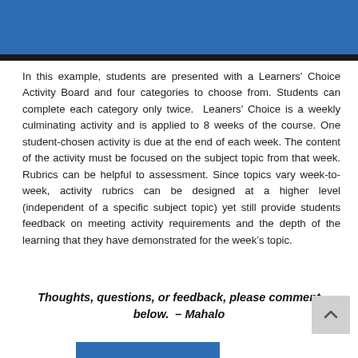[Figure (other): Blue banner header at the top of the page with a dark bottom bar]
In this example, students are presented with a Learners' Choice Activity Board and four categories to choose from. Students can complete each category only twice.  Leaners' Choice is a weekly culminating activity and is applied to 8 weeks of the course. One student-chosen activity is due at the end of each week. The content of the activity must be focused on the subject topic from that week. Rubrics can be helpful to assessment. Since topics vary week-to-week, activity rubrics can be designed at a higher level (independent of a specific subject topic) yet still provide students feedback on meeting activity requirements and the depth of the learning that they have demonstrated for the week’s topic.
Thoughts, questions, or feedback, please comment below.  – Mahalo